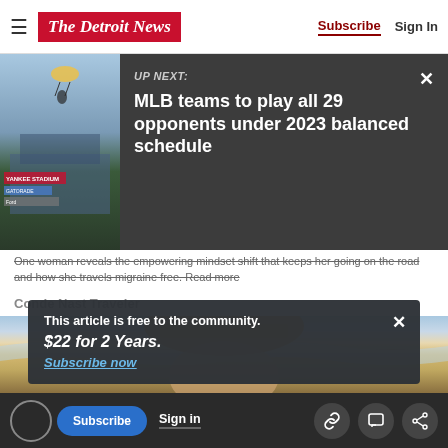The Detroit News — Subscribe | Sign In
UP NEXT: MLB teams to play all 29 opponents under 2023 balanced schedule
One woman reveals the empowering mindset shift that keeps her going on the road and how she travels migraine free. Read more
Conde Nast Traveler
[Figure (photo): Beach scene with woman in yellow hat and ocean background]
This article is free to the community.
$22 for 2 Years.
Subscribe now
Subscribe | Sign in